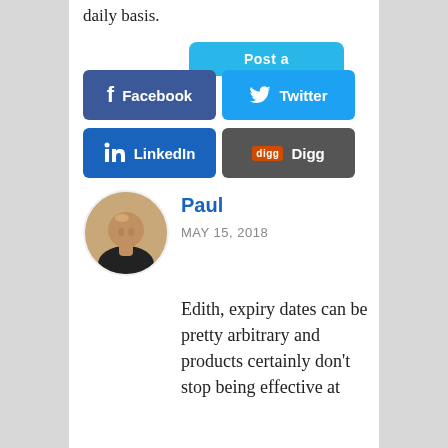daily basis.
[Figure (infographic): Social media share buttons: Post (partial, sky blue), Facebook (dark blue), Twitter (light blue), LinkedIn (blue), Digg (dark gray with orange icon)]
Paul
MAY 15, 2018
[Figure (photo): Circular avatar photo of a bald man in a dark sleeveless top]
Edith, expiry dates can be pretty arbitrary and products certainly don't stop being effective at